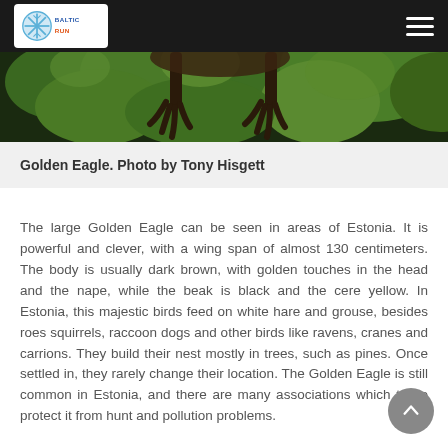[Figure (logo): Baltic Run logo in white box on dark navigation bar with hamburger menu icon on right]
[Figure (photo): Golden Eagle photograph by Tony Hisgett — partial view showing bird's talons/feet against a green leafy background]
Golden Eagle. Photo by Tony Hisgett
The large Golden Eagle can be seen in areas of Estonia. It is powerful and clever, with a wing span of almost 130 centimeters. The body is usually dark brown, with golden touches in the head and the nape, while the beak is black and the cere yellow. In Estonia, this majestic birds feed on white hare and grouse, besides roes squirrels, raccoon dogs and other birds like ravens, cranes and carrions. They build their nest mostly in trees, such as pines. Once settled in, they rarely change their location. The Golden Eagle is still common in Estonia, and there are many associations which try to protect it from hunt and pollution problems.